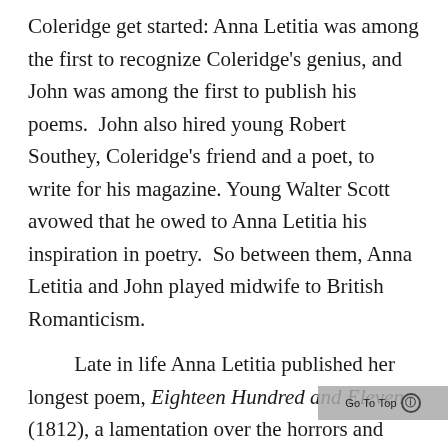Coleridge get started: Anna Letitia was among the first to recognize Coleridge's genius, and John was among the first to publish his poems.  John also hired young Robert Southey, Coleridge's friend and a poet, to write for his magazine. Young Walter Scott avowed that he owed to Anna Letitia his inspiration in poetry.  So between them, Anna Letitia and John played midwife to British Romanticism.

Late in life Anna Letitia published her longest poem, Eighteen Hundred and Eleven (1812), a lamentation over the horrors and human waste of the Napoleonic Wars. The poem was badly received by a public that had learned to view war as glorious and the